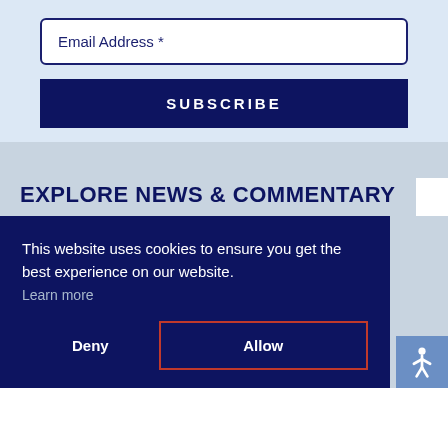Email Address *
SUBSCRIBE
EXPLORE NEWS & COMMENTARY
This website uses cookies to ensure you get the best experience on our website. Learn more
Deny
Allow